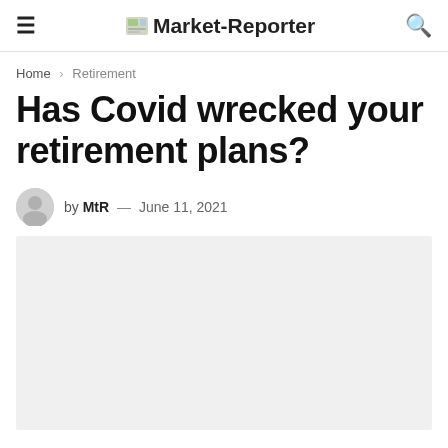≡  Market-Reporter  🔍
Home › Retirement
Has Covid wrecked your retirement plans?
by MtR — June 11, 2021
[Figure (photo): Featured article image placeholder, light gray background]